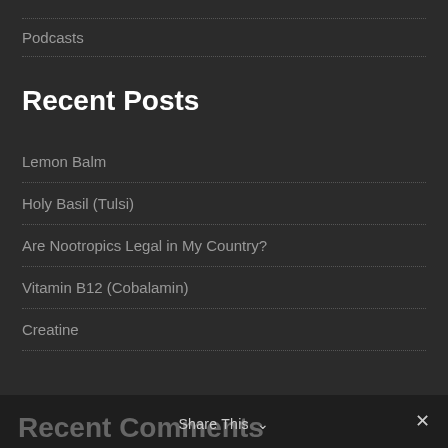Podcasts
Recent Posts
Lemon Balm
Holy Basil (Tulsi)
Are Nootropics Legal in My Country?
Vitamin B12 (Cobalamin)
Creatine
Recent Comments
Share This